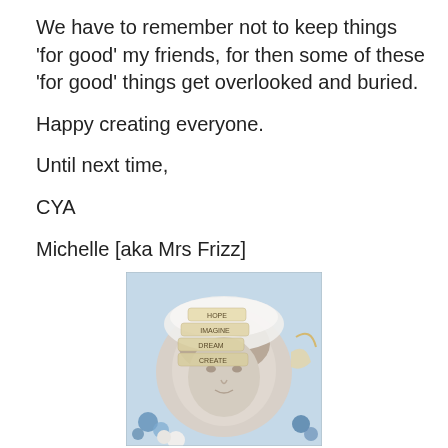We have to remember not to keep things 'for good' my friends, for then some of these 'for good' things get overlooked and buried.

Happy creating everyone.

Until next time,

CYA

Michelle [aka Mrs Frizz]
[Figure (photo): A decorative scrapbook-style photo of a woman wearing a white lacy hat, with floral embellishments and text labels reading HOPE, IMAGINE, DREAM, CREATE overlaid on the image. The photo has a circular vignette effect and appears in black and white/sepia tones with colorful floral decorations.]